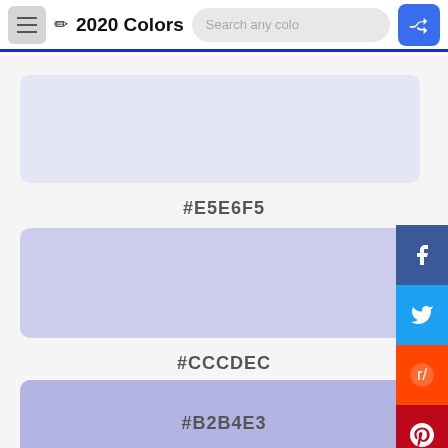2020 Colors
[Figure (other): Color swatch showing #E5E6F5 light lavender/periwinkle color]
#E5E6F5
[Figure (other): Color swatch showing #CCCDEC medium lavender color]
#CCCDEC
[Figure (other): Color swatch showing #B2B4E3 deeper lavender color]
#B2B4E3